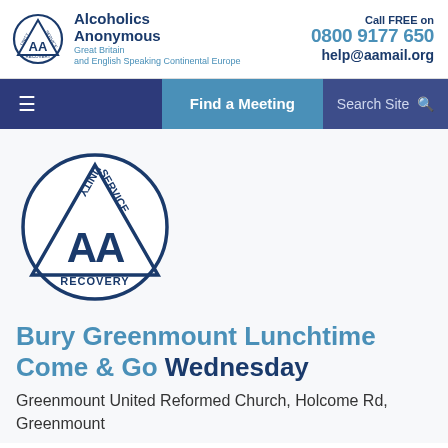Alcoholics Anonymous Great Britain and English Speaking Continental Europe | Call FREE on 0800 9177 650 | help@aamail.org
[Figure (logo): AA (Alcoholics Anonymous) circular logo with triangle inside, Unity, Service, Recovery labels]
Bury Greenmount Lunchtime Come & Go Wednesday
Greenmount United Reformed Church, Holcome Rd, Greenmount